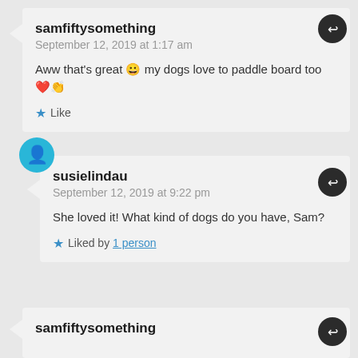samfiftysomething
September 12, 2019 at 1:17 am
Aww that's great 😀 my dogs love to paddle board too ❤️👏
Like
[Figure (illustration): User avatar circle with person icon (blue) for susielindau]
susielindau
September 12, 2019 at 9:22 pm
She loved it! What kind of dogs do you have, Sam?
Liked by 1 person
samfiftysomething